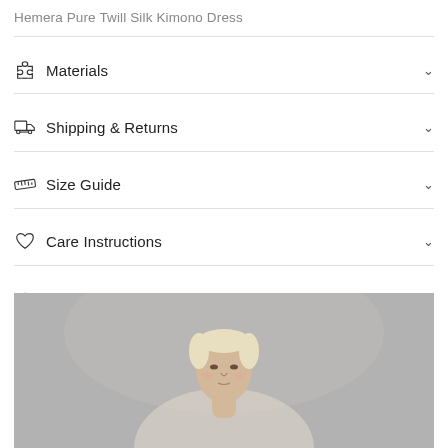Hemera Pure Twill Silk Kimono Dress
Materials
Shipping & Returns
Size Guide
Care Instructions
Share
[Figure (photo): Fashion model with blonde cropped hair, neutral grey background, wearing a silk kimono dress, upper body visible]